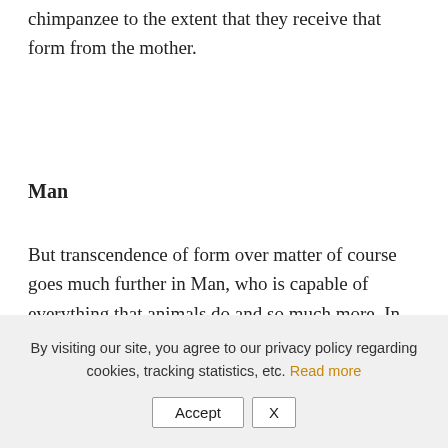chimpanzee to the extent that they receive that form from the mother.
Man
But transcendence of form over matter of course goes much further in Man, who is capable of everything that animals do and so much more. In addition to the above, Man is also capable of rationally apprehending and
By visiting our site, you agree to our privacy policy regarding cookies, tracking statistics, etc. Read more
Accept   X